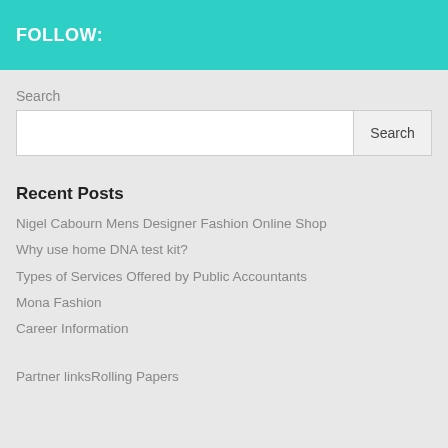FOLLOW:
Search
Recent Posts
Nigel Cabourn Mens Designer Fashion Online Shop
Why use home DNA test kit?
Types of Services Offered by Public Accountants
Mona Fashion
Career Information
Partner linksRolling Papers